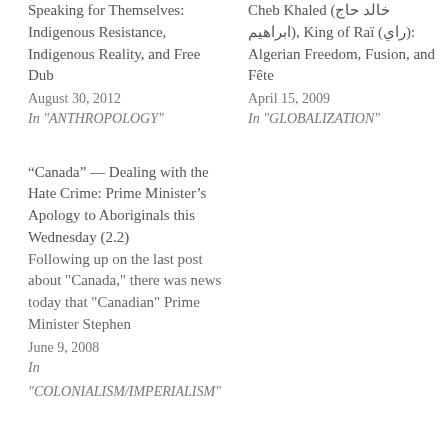Speaking for Themselves: Indigenous Resistance, Indigenous Reality, and Free Dub
August 30, 2012
In "ANTHROPOLOGY"
Cheb Khaled (خالد حاج ابراهيم), King of Raï (راي): Algerian Freedom, Fusion, and Fête
April 15, 2009
In "GLOBALIZATION"
“Canada” — Dealing with the Hate Crime: Prime Minister’s Apology to Aboriginals this Wednesday (2.2)
Following up on the last post about "Canada," there was news today that "Canadian" Prime Minister Stephen
June 9, 2008
In
"COLONIALISM/IMPERIALISM"